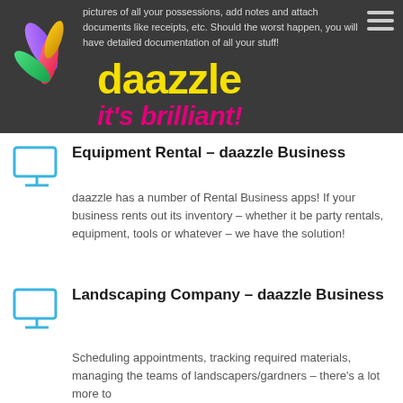pictures of all your possessions, add notes and attach documents like receipts, etc. Should the worst happen, you will have detailed documentation of all your stuff!
[Figure (logo): daazzle logo with colorful brush strokes graphic, yellow 'daazzle' text and pink italic 'it's brilliant!' tagline on dark grey background]
Equipment Rental – daazzle Business
daazzle has a number of Rental Business apps! If your business rents out its inventory – whether it be party rentals, equipment, tools or whatever – we have the solution!
Landscaping Company – daazzle Business
Scheduling appointments, tracking required materials, managing the teams of landscapers/gardners – there's a lot more to